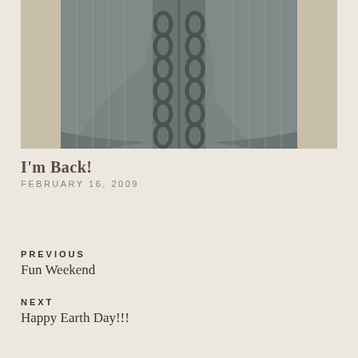[Figure (photo): Close-up photograph of a grey knitted cardigan or vest laid flat, showing cable knit pattern down the center front and ribbed edges, on a light quilted background]
I'm Back!
FEBRUARY 16, 2009
PREVIOUS
Fun Weekend
NEXT
Happy Earth Day!!!